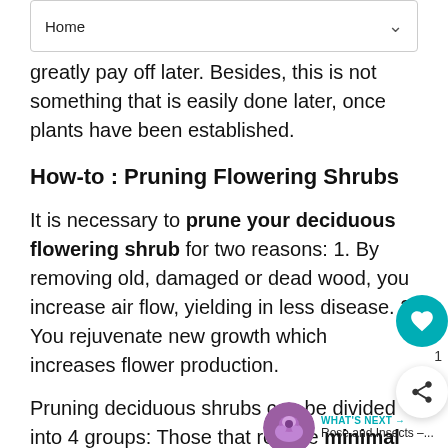an... n like... will greatly pay off later. Besides, this is not something that is easily done later, once plants have been established.
How-to : Pruning Flowering Shrubs
It is necessary to prune your deciduous flowering shrub for two reasons: 1. By removing old, damaged or dead wood, you increase air flow, yielding in less disease. 2. You rejuvenate new growth which increases flower production.
Pruning deciduous shrubs can be divided into 4 groups: Those that require minimal pruning